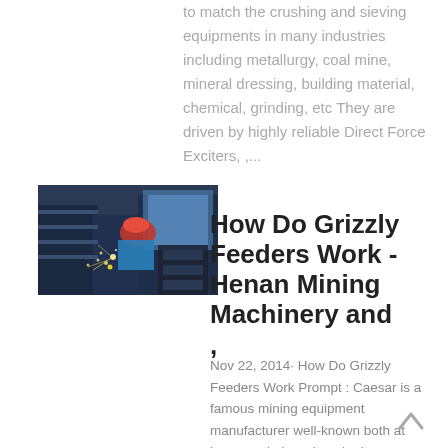to match the crushing and sieving equipments in many industries including metallurgy, coal mine, mineral dressing, building material, chemical, grinding, etc They are driven by highly reliable Direct Force Exciters, ,...
[Figure (photo): Photo of a worker in industrial setting using welding/grinding equipment with sparks, wearing protective gear]
How Do Grizzly Feeders Work - Henan Mining Machinery and ,
Nov 22, 2014· How Do Grizzly Feeders Work Prompt : Caesar is a famous mining equipment manufacturer well-known both at home and abroad, major in producing stone crushing equipment, mineral separation equipment, limestone grinding equipment, etc Grizzly Feeder